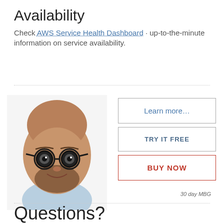Availability
Check AWS Service Health Dashboard · up-to-the-minute information on service availability.
[Figure (photo): Photo of a bald man with round glasses and a beard, smiling, wearing a light blue shirt]
Learn more...
TRY IT FREE
BUY NOW
30 day MBG
Questions?